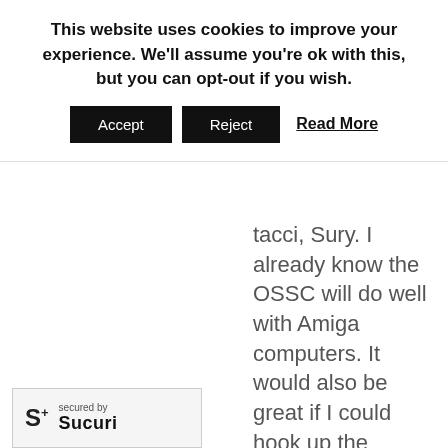This website uses cookies to improve your experience. We'll assume you're ok with this, but you can opt-out if you wish.
Accept | Reject | Read More
tacci, Sully. I already know the OSSC will do well with Amiga computers. It would also be great if I could hook up the Commodore 64 to it. The C64's S-video is progressiv
[Figure (logo): Sucuri security badge: S+ logo with 'secured by Sucuri' text]